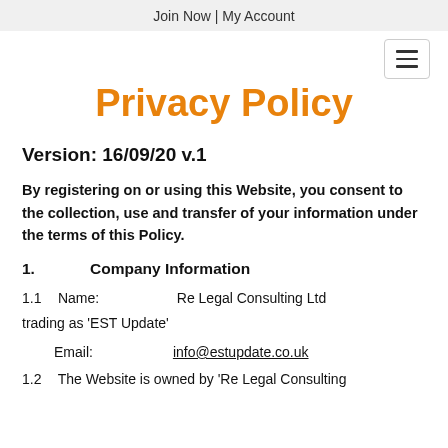Join Now | My Account
Privacy Policy
Version: 16/09/20 v.1
By registering on or using this Website, you consent to the collection, use and transfer of your information under the terms of this Policy.
1.    Company Information
1.1    Name:    Re Legal Consulting Ltd trading as 'EST Update'
Email:    info@estupdate.co.uk
1.2    The Website is owned by 'Re Legal Consulting